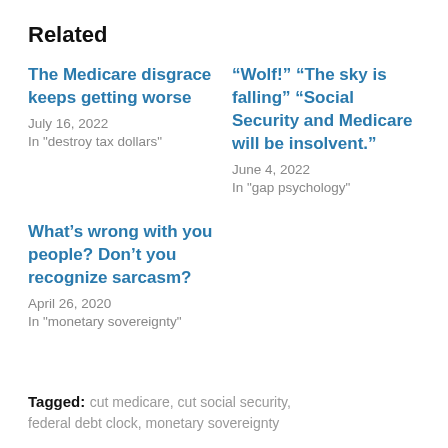Related
The Medicare disgrace keeps getting worse
July 16, 2022
In "destroy tax dollars"
“Wolf!” “The sky is falling” “Social Security and Medicare will be insolvent.”
June 4, 2022
In "gap psychology"
What’s wrong with you people? Don’t you recognize sarcasm?
April 26, 2020
In "monetary sovereignty"
Tagged:  cut medicare,  cut social security,  federal debt clock,  monetary sovereignty